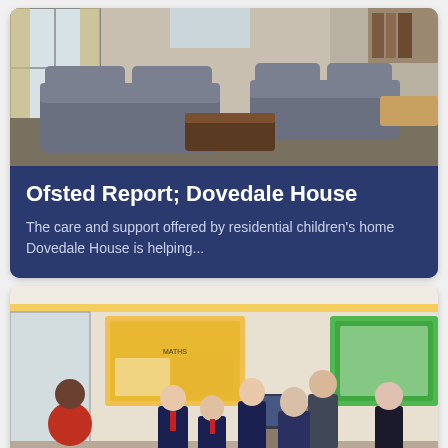[Figure (photo): Interior photo of a residential living room with grey sofas, curtains, and a coffee table]
Ofsted Report; Dovedale House
The care and support offered by residential children's home Dovedale House is helping...
[Figure (photo): Group photo of students in school uniforms with adults in a classroom setting with bulletin boards]